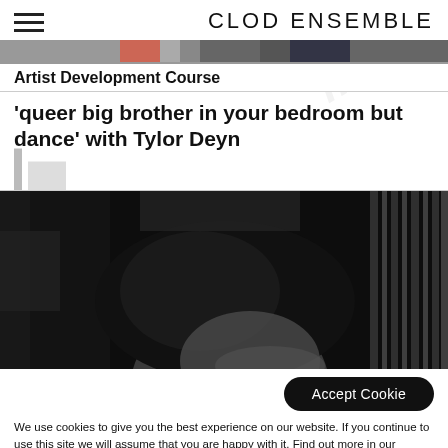CLOD ENSEMBLE
[Figure (photo): Partial view of a person with dark hair in black and white, top image strip]
Artist Development Course
'queer big brother in your bedroom but dance' with Tylor Deyn
[Figure (photo): Black and white close-up photograph of a person with dark hair looking to the side]
Accept Cookie
We use cookies to give you the best experience on our website. If you continue to use this site we will assume that you are happy with it. Find out more in our Privacy & Cookies Policy.